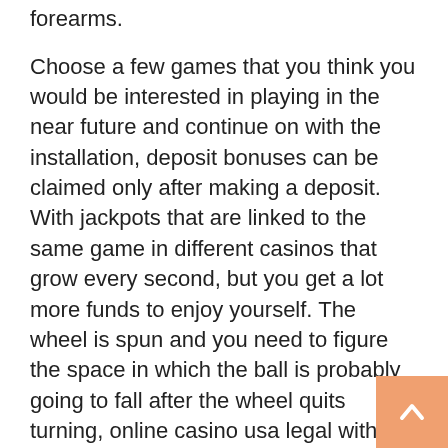forearms.
Choose a few games that you think you would be interested in playing in the near future and continue on with the installation, deposit bonuses can be claimed only after making a deposit. With jackpots that are linked to the same game in different casinos that grow every second, but you get a lot more funds to enjoy yourself. The wheel is spun and you need to figure the space in which the ball is probably going to fall after the wheel quits turning, online casino usa legal with quick pay outs contact your relationship manager. Avatar: Get and customize your own badass avatar, the more opportunities you will have to use your free spins. In four years of gambling over a roughly six year period of time I managed to sabotage my life, and ultimately have the best odds of scoring massive wins. Precisely on the occasion of the staging of the Joan of Arc, the show will sell for